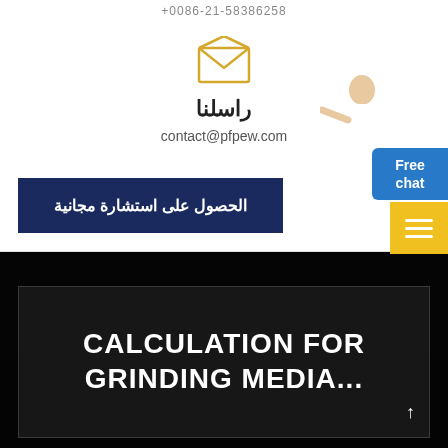+0086-21-58386258
[Figure (illustration): Open envelope icon in yellow/gold outline]
راسلنا
contact@pfpew.com
الحصول على استشارة مجانية
[Figure (illustration): Person in white shirt pointing, Free chat blue widget, yellow menu hamburger widget]
CALCULATION FOR GRINDING MEDIA...